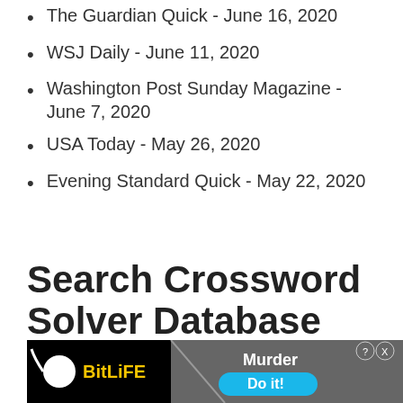The Guardian Quick - June 16, 2020
WSJ Daily - June 11, 2020
Washington Post Sunday Magazine - June 7, 2020
USA Today - May 26, 2020
Evening Standard Quick - May 22, 2020
Search Crossword Solver Database
[Figure (screenshot): Search input box area with gray background]
[Figure (screenshot): BitLife advertisement banner with murder theme and Do it! button]